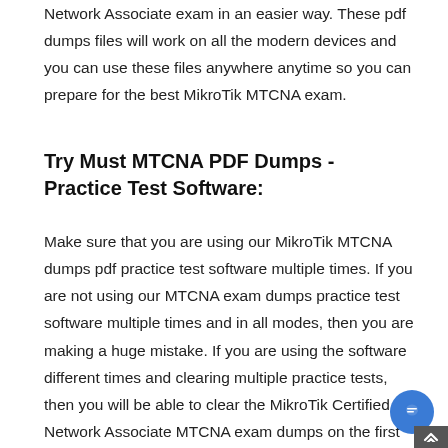Network Associate exam in an easier way. These pdf dumps files will work on all the modern devices and you can use these files anywhere anytime so you can prepare for the best MikroTik MTCNA exam.
Try Must MTCNA PDF Dumps - Practice Test Software:
Make sure that you are using our MikroTik MTCNA dumps pdf practice test software multiple times. If you are not using our MTCNA exam dumps practice test software multiple times and in all modes, then you are making a huge mistake. If you are using the software different times and clearing multiple practice tests, then you will be able to clear the MikroTik Certified Network Associate MTCNA exam dumps on the first attempt.